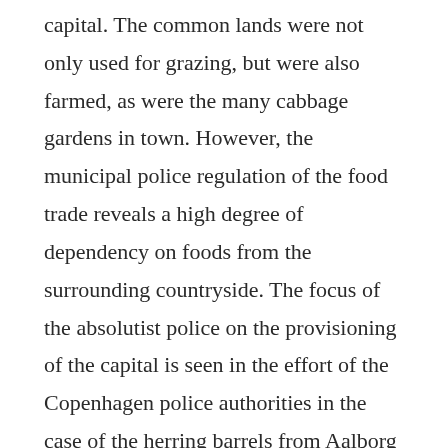capital. The common lands were not only used for grazing, but were also farmed, as were the many cabbage gardens in town. However, the municipal police regulation of the food trade reveals a high degree of dependency on foods from the surrounding countryside. The focus of the absolutist police on the provisioning of the capital is seen in the effort of the Copenhagen police authorities in the case of the herring barrels from Aalborg being smaller than the size ordained in the ordinance on scales and measures from 1683. However, as was the case with the implementation of police ordinances in other absolutist states, the size of herring barrels was adapted to local standards in ordinance of 1719. The concern of the police master for the price of bread in